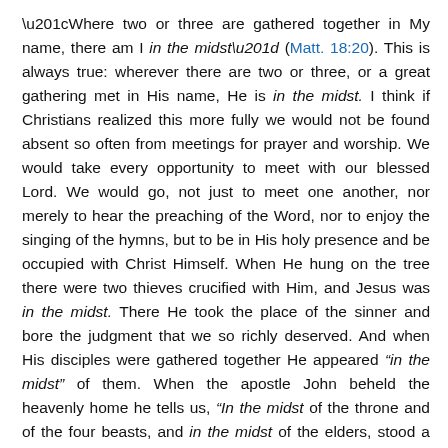“Where two or three are gathered together in My name, there am I in the midst” (Matt. 18:20). This is always true: wherever there are two or three, or a great gathering met in His name, He is in the midst. I think if Christians realized this more fully we would not be found absent so often from meetings for prayer and worship. We would take every opportunity to meet with our blessed Lord. We would go, not just to meet one another, nor merely to hear the preaching of the Word, nor to enjoy the singing of the hymns, but to be in His holy presence and be occupied with Christ Himself. When He hung on the tree there were two thieves crucified with Him, and Jesus was in the midst. There He took the place of the sinner and bore the judgment that we so richly deserved. And when His disciples were gathered together He appeared “in the midst” of them. When the apostle John beheld the heavenly home he tells us, “In the midst of the throne and of the four beasts, and in the midst of the elders, stood a Lamb as it had been slain” (Rev. 5:6). His place is always in the midst.
The disciples had heard of the testimony of His resurrection